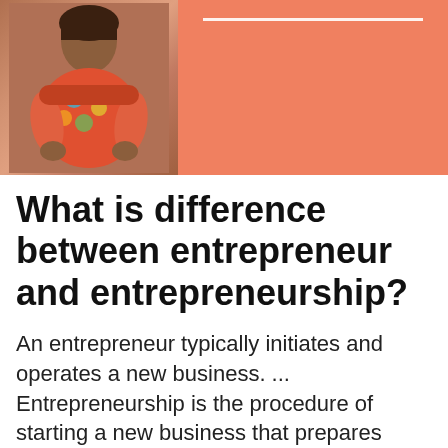[Figure (photo): A woman in a colorful floral top on the left side, with an orange/salmon colored background panel on the right side with a white horizontal line near the top]
What is difference between entrepreneur and entrepreneurship?
An entrepreneur typically initiates and operates a new business. ... Entrepreneurship is the procedure of starting a new business that prepares someone for both risks and opportunities. An entrepreneur coordinates the essential requirements of an organization.
What is the difference between entrepreneurs and